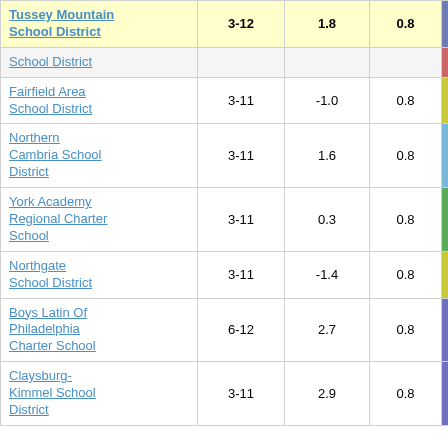| School/District | Grades | Col3 | Col4 | Score |
| --- | --- | --- | --- | --- |
| Tussey Mountain School District | 3-12 | 1.8 | 0.8 | 2.29 |
| School District |  |  |  |  |
| Fairfield Area School District | 3-11 | -1.0 | 0.8 | -1.22 |
| Northern Cambria School District | 3-11 | 1.6 | 0.8 | 1.94 |
| York Academy Regional Charter School | 3-11 | 0.3 | 0.8 | 0.34 |
| Northgate School District | 3-11 | -1.4 | 0.8 | -1.68 |
| Boys Latin Of Philadelphia Charter School | 6-12 | 2.7 | 0.8 | 3.28 |
| Claysburg-Kimmel School District | 3-11 | 2.9 | 0.8 | 3.45 |